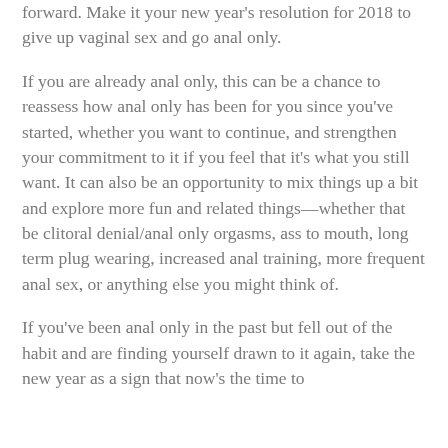forward. Make it your new year's resolution for 2018 to give up vaginal sex and go anal only.
If you are already anal only, this can be a chance to reassess how anal only has been for you since you've started, whether you want to continue, and strengthen your commitment to it if you feel that it's what you still want. It can also be an opportunity to mix things up a bit and explore more fun and related things—whether that be clitoral denial/anal only orgasms, ass to mouth, long term plug wearing, increased anal training, more frequent anal sex, or anything else you might think of.
If you've been anal only in the past but fell out of the habit and are finding yourself drawn to it again, take the new year as a sign that now's the time to